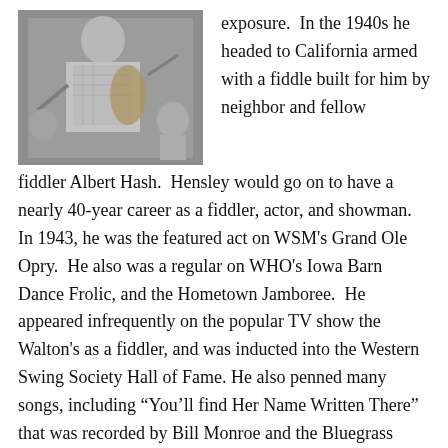[Figure (photo): Black and white photograph of a man playing fiddle, with other people visible in the background.]
exposure.  In the 1940s he headed to California armed with a fiddle built for him by neighbor and fellow fiddler Albert Hash.  Hensley would go on to have a nearly 40-year career as a fiddler, actor, and showman.  In 1943, he was the featured act on WSM's Grand Ole Opry.  He also was a regular on WHO's Iowa Barn Dance Frolic, and the Hometown Jamboree.  He appeared infrequently on the popular TV show the Walton's as a fiddler, and was inducted into the Western Swing Society Hall of Fame. He also penned many songs, including “You’ll find Her Name Written There” that was recorded by Bill Monroe and the Bluegrass Boys.
Roy
[Figure (photo): Partial color photograph at the bottom right of the page.]